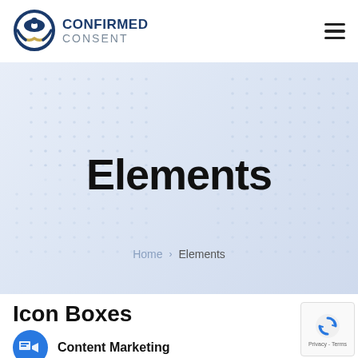[Figure (logo): Confirmed Consent logo with eye/checkmark icon in dark blue and gold, with text CONFIRMED CONSENT]
Elements
Home > Elements
Icon Boxes
Content Marketing
[Figure (illustration): reCAPTCHA badge with spinning arrows icon and Privacy - Terms text]